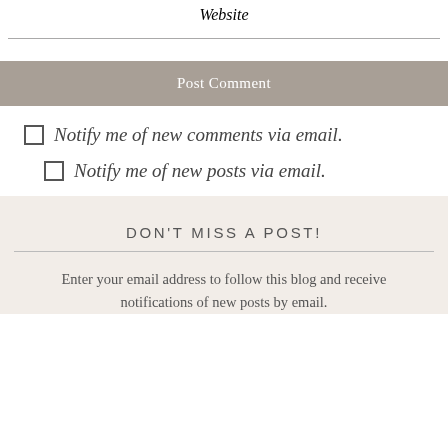Website
Post Comment
Notify me of new comments via email.
Notify me of new posts via email.
DON'T MISS A POST!
Enter your email address to follow this blog and receive notifications of new posts by email.